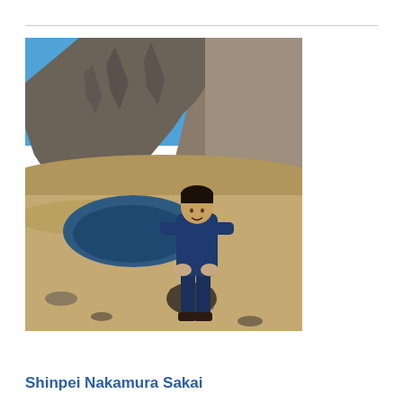[Figure (photo): Young Asian man in dark blue jacket and pants sitting on a rock in front of a scenic mountain crater lake landscape with volcanic peak in background under blue sky]
Shinpei Nakamura Sakai